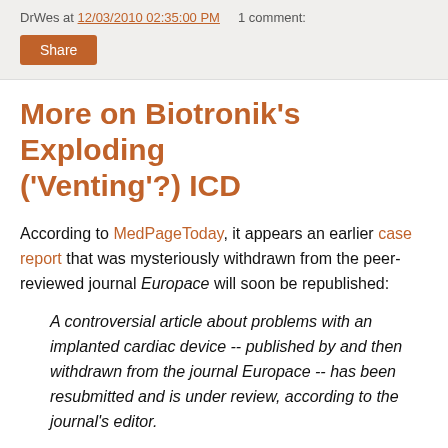DrWes at 12/03/2010 02:35:00 PM   1 comment:
Share
More on Biotronik's Exploding ('Venting'?) ICD
According to MedPageToday, it appears an earlier case report that was mysteriously withdrawn from the peer-reviewed journal Europace will soon be republished:
A controversial article about problems with an implanted cardiac device -- published by and then withdrawn from the journal Europace -- has been resubmitted and is under review, according to the journal's editor.
"I expect that a decision on publication will be made very shortly," John Camm, MD, of St. George's University of London, told MedPage Today in an e-mail.